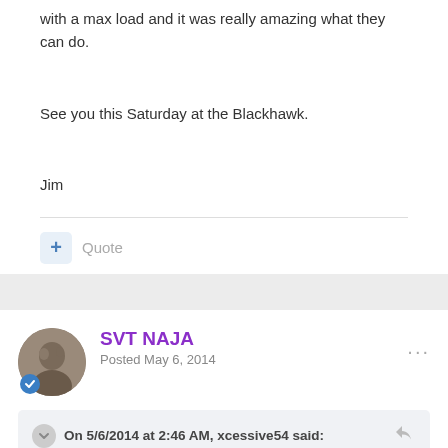with a max load and it was really amazing what they can do.
See you this Saturday at the Blackhawk.
Jim
Quote
SVT NAJA
Posted May 6, 2014
On 5/6/2014 at 2:46 AM, xcessive54 said:
Aww man! Pretty much my backyard but cant do it that day. Weak!